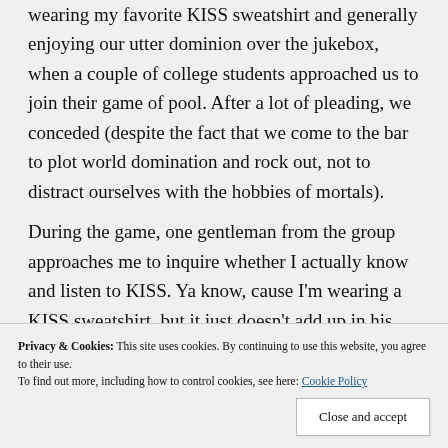wearing my favorite KISS sweatshirt and generally enjoying our utter dominion over the jukebox, when a couple of college students approached us to join their game of pool. After a lot of pleading, we conceded (despite the fact that we come to the bar to plot world domination and rock out, not to distract ourselves with the hobbies of mortals).
During the game, one gentleman from the group approaches me to inquire whether I actually know and listen to KISS. Ya know, cause I'm wearing a KISS sweatshirt, but it just doesn't add up in his mind.
Privacy & Cookies: This site uses cookies. By continuing to use this website, you agree to their use. To find out more, including how to control cookies, see here: Cookie Policy